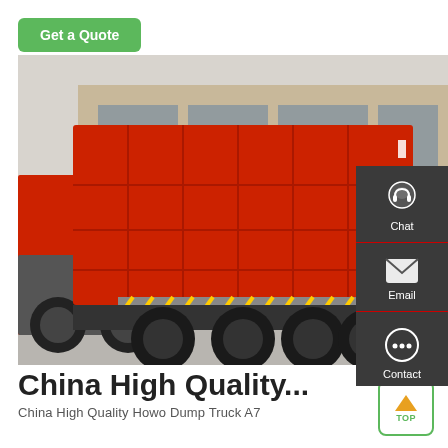Get a Quote
[Figure (photo): Red Howo dump trucks (tipper trucks) parked in a commercial/industrial lot in front of a building. The rear of a large red dump truck with reflective chevron markings dominates the image, with another red truck visible on the left side.]
Chat
Email
Contact
China High Quality...
China High Quality Howo Dump Truck A7